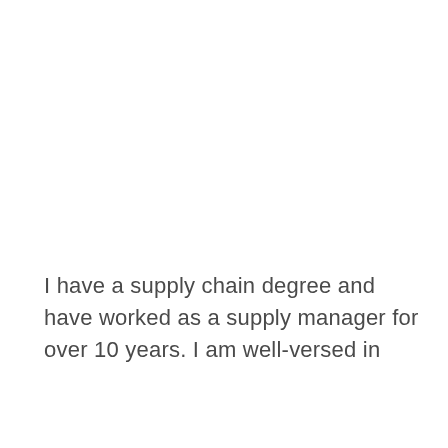I have a supply chain degree and have worked as a supply manager for over 10 years. I am well-versed in